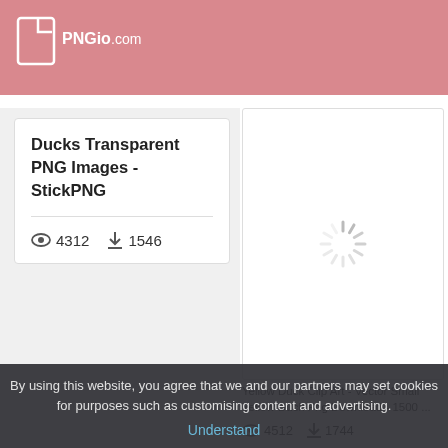PNGio.com
Ducks Transparent PNG Images - StickPNG
4312  1546
[Figure (screenshot): Loading spinner (radial lines) shown in a white image card area on the right side]
Yellow Duck Clip Art - Vector Small Yellow Duck Png Download - 1500 ...
4512  1744
By using this website, you agree that we and our partners may set cookies for purposes such as customising content and advertising.
Understand